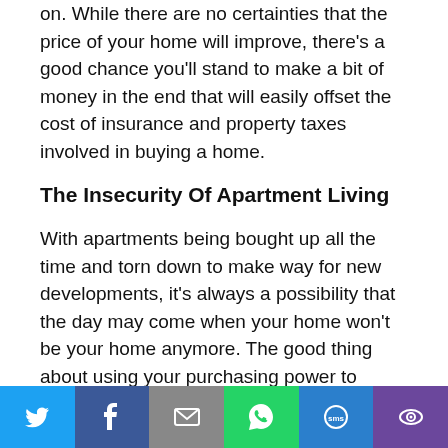on. While there are no certainties that the price of your home will improve, there's a good chance you'll stand to make a bit of money in the end that will easily offset the cost of insurance and property taxes involved in buying a home.
The Insecurity Of Apartment Living
With apartments being bought up all the time and torn down to make way for new developments, it's always a possibility that the day may come when your home won't be your home anymore. The good thing about using your purchasing power to invest in a home is that it gives you the freedom of feeling like you really have
[Figure (infographic): Social share bar with six buttons: Twitter (blue), Facebook (dark blue), Email (gray), WhatsApp (green), SMS (blue), More (purple)]